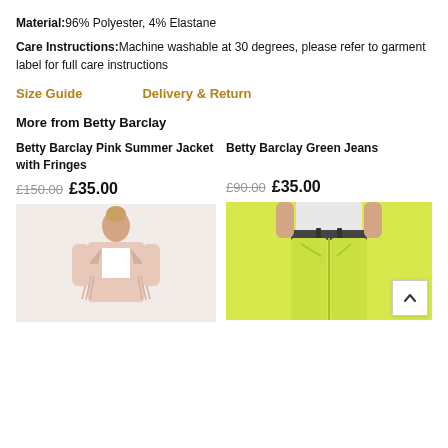Material:96% Polyester, 4% Elastane
Care Instructions:Machine washable at 30 degrees, please refer to garment label for full care instructions
Size Guide
Delivery & Return
More from Betty Barclay
Betty Barclay Pink Summer Jacket with Fringes
£150.00  £35.00
[Figure (photo): Model wearing a pink summer jacket with fringes by Betty Barclay]
Betty Barclay Green Jeans
£90.00  £35.00
[Figure (photo): Model wearing lime green jeans by Betty Barclay]